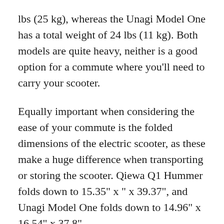lbs (25 kg), whereas the Unagi Model One has a total weight of 24 lbs (11 kg). Both models are quite heavy, neither is a good option for a commute where you'll need to carry your scooter.
Equally important when considering the ease of your commute is the folded dimensions of the electric scooter, as these make a huge difference when transporting or storing the scooter. Qiewa Q1 Hummer folds down to 15.35" x " x 39.37", and Unagi Model One folds down to 14.96" x 16.54" x 37.8".
Of course, convenience and portability is only one part of the puzzle. It is important to know